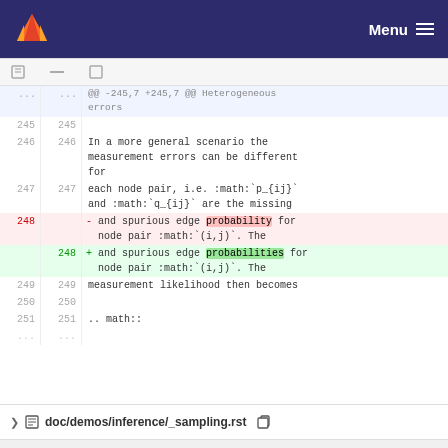Menu
@@ -245,7 +245,7 @@ Heterogeneous errors
245  245  
246  246  In a more general scenario the measurement errors can be different for
247  247  each node pair, i.e. :math:`p_{ij}` and :math:`q_{ij}` are the missing
248       - and spurious edge probability for node pair :math:`(i,j)`. The
     248  + and spurious edge probabilities for node pair :math:`(i,j)`. The
249  249  measurement likelihood then becomes
250  250  
251  251  .. math::
...  ...
doc/demos/inference/_sampling.rst